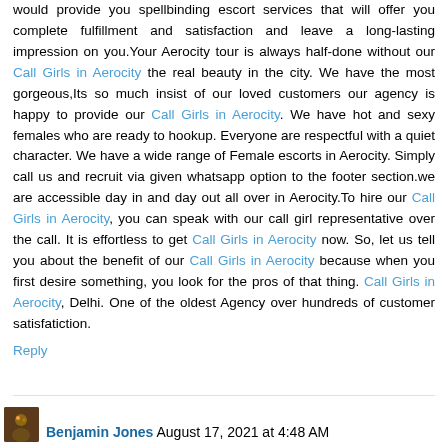would provide you spellbinding escort services that will offer you complete fulfillment and satisfaction and leave a long-lasting impression on you.Your Aerocity tour is always half-done without our Call Girls in Aerocity the real beauty in the city. We have the most gorgeous,Its so much insist of our loved customers our agency is happy to provide our Call Girls in Aerocity. We have hot and sexy females who are ready to hookup. Everyone are respectful with a quiet character. We have a wide range of Female escorts in Aerocity. Simply call us and recruit via given whatsapp option to the footer section.we are accessible day in and day out all over in Aerocity.To hire our Call Girls in Aerocity, you can speak with our call girl representative over the call. It is effortless to get Call Girls in Aerocity now. So, let us tell you about the benefit of our Call Girls in Aerocity because when you first desire something, you look for the pros of that thing. Call Girls in Aerocity, Delhi. One of the oldest Agency over hundreds of customer satisfatiction.
Reply
Benjamin Jones August 17, 2021 at 4:48 AM